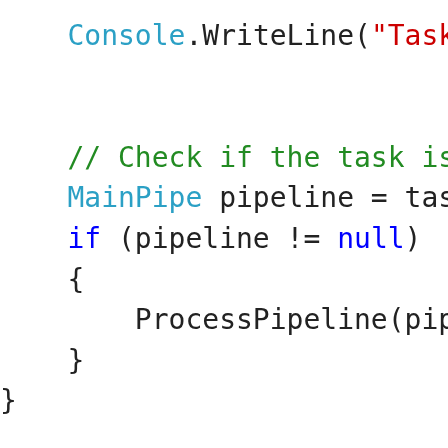[Figure (screenshot): C# source code snippet showing a Console.WriteLine call, a comment checking if task is a MainPipe, pipeline assignment, if-block with ProcessPipeline call, closing braces, and a private static void ProcessPip method definition with a foreach (IDTSComponentMeta block.]